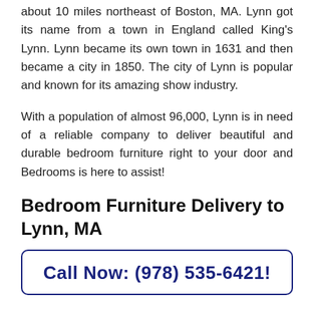about 10 miles northeast of Boston, MA. Lynn got its name from a town in England called King's Lynn. Lynn became its own town in 1631 and then became a city in 1850. The city of Lynn is popular and known for its amazing show industry.
With a population of almost 96,000, Lynn is in need of a reliable company to deliver beautiful and durable bedroom furniture right to your door and Bedrooms is here to assist!
Bedroom Furniture Delivery to Lynn, MA
Call Now: (978) 535-6421!